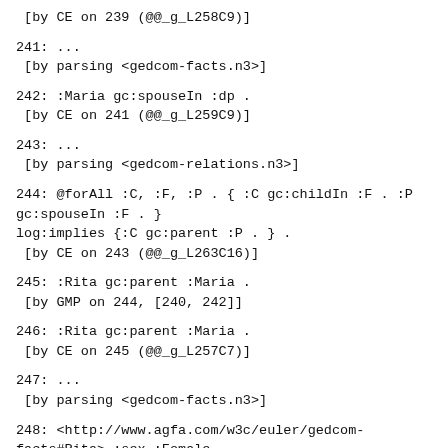[by CE on 239 (@@_g_L258C9)]
241: ...
 [by parsing <gedcom-facts.n3>]
242: :Maria gc:spouseIn :dp .
 [by CE on 241 (@@_g_L259C9)]
243: ...
 [by parsing <gedcom-relations.n3>]
244: @forAll :C, :F, :P . { :C gc:childIn :F . :P gc:spouseIn :F . }
log:implies {:C gc:parent :P . } .
 [by CE on 243 (@@_g_L263C16)]
245: :Rita gc:parent :Maria .
 [by GMP on 244, [240, 242]]
246: :Rita gc:parent :Maria .
 [by CE on 245 (@@_g_L257C7)]
247: ...
 [by parsing <gedcom-facts.n3>]
248: <http://www.agfa.com/w3c/euler/gedcom-facts#Rita> :sex :Female .
 [by CE on 247 (@@_g_L264C7)]